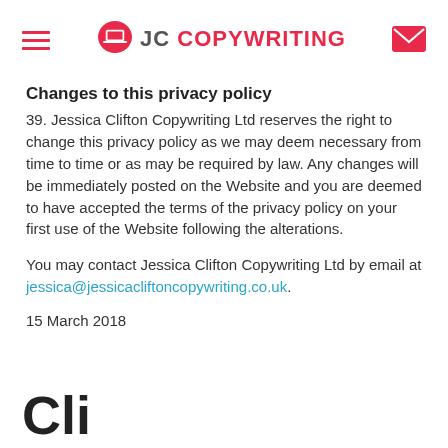JC COPYWRITING
Changes to this privacy policy
39. Jessica Clifton Copywriting Ltd reserves the right to change this privacy policy as we may deem necessary from time to time or as may be required by law. Any changes will be immediately posted on the Website and you are deemed to have accepted the terms of the privacy policy on your first use of the Website following the alterations.
You may contact Jessica Clifton Copywriting Ltd by email at jessica@jessicacliftoncopywriting.co.uk.
15 March 2018